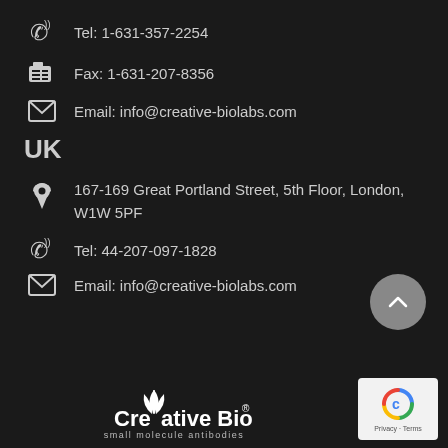Tel: 1-631-357-2254
Fax: 1-631-207-8356
Email: info@creative-biolabs.com
UK
167-169 Great Portland Street, 5th Floor, London, W1W 5PF
Tel: 44-207-097-1828
Email: info@creative-biolabs.com
[Figure (logo): Creative Biolabs logo with small molecule antibodies tagline]